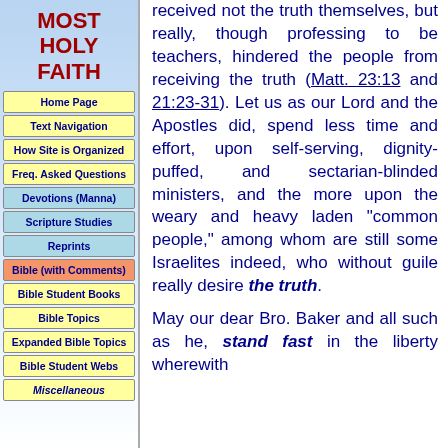MOST HOLY FAITH
Home Page
Text Navigation
How Site is Organized
Freq. Asked Questions
Devotions (Manna)
Scripture Studies
Reprints
Bible (with Comments)
Bible Student Books
Bible Topics
Expanded Bible Topics
Bible Student Webs
Miscellaneous
received not the truth themselves, but really, though professing to be teachers, hindered the people from receiving the truth (Matt. 23:13 and 21:23-31). Let us as our Lord and the Apostles did, spend less time and effort, upon self-serving, dignity-puffed, and sectarian-blinded ministers, and the more upon the weary and heavy laden "common people," among whom are still some Israelites indeed, who without guile really desire the truth.
May our dear Bro. Baker and all such as he, stand fast in the liberty wherewith